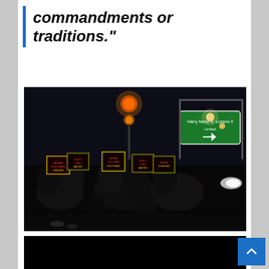commandments or traditions.”
[Figure (photo): Night protest scene with a crowd of people holding signs with yellow and red text against dark background; traffic lights and green highway signs visible in background]
[Figure (photo): Mostly black/dark image, appears to be a second photo, largely obscured]